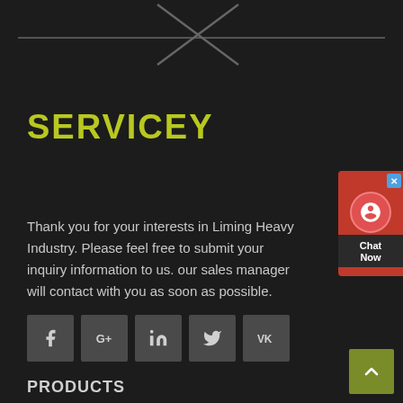[Figure (illustration): Decorative X shape with horizontal line across the top of the page]
SERVICEY
Thank you for your interests in Liming Heavy Industry. Please feel free to submit your inquiry information to us. our sales manager will contact with you as soon as possible.
[Figure (illustration): Social media icons row: Facebook, Google+, LinkedIn, Twitter, VK]
[Figure (illustration): Chat Now widget on right side with headset icon]
PRODUCTS
[Figure (illustration): Back to top arrow button in olive/yellow-green color at bottom right]